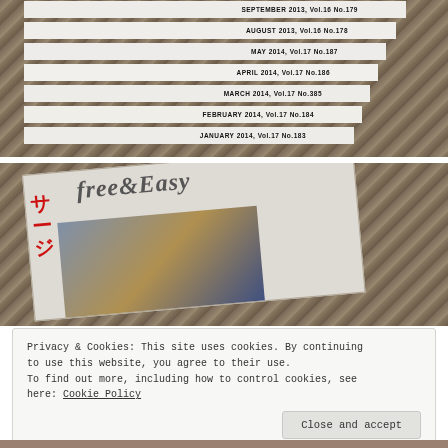[Figure (photo): Stack of white magazine spines on a wooden slatted surface. Spines read: SEPTEMBER 2013 Vol.16 No.179, AUGUST 2013 Vol.16 No.178, MAY 2014 Vol.17 No.187, APRIL 2014 Vol.17 No.186, MARCH 2014 Vol.17 No.185, FEBRUARY 2014 Vol.17 No.184, JANUARY 2014 Vol.17 No.183]
[Figure (photo): Photo of a Free & Easy magazine cover on a wooden slatted surface. The cover shows the stylized 'Free & Easy' logo in outlined letters and Japanese text in red on the left side, with a figure wearing a plaid/tartan jacket.]
Privacy & Cookies: This site uses cookies. By continuing to use this website, you agree to their use.
To find out more, including how to control cookies, see here: Cookie Policy
Close and accept